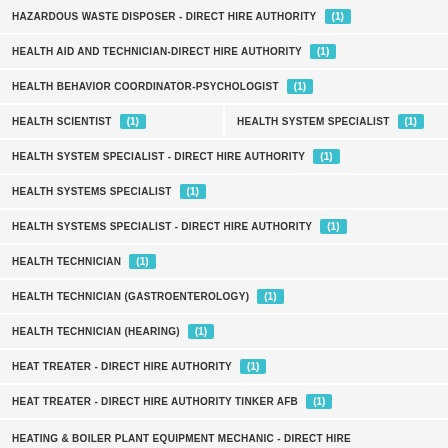HAZARDOUS WASTE DISPOSER - DIRECT HIRE AUTHORITY (1)
HEALTH AID AND TECHNICIAN-DIRECT HIRE AUTHORITY (1)
HEALTH BEHAVIOR COORDINATOR-PSYCHOLOGIST (1)
HEALTH SCIENTIST (1)
HEALTH SYSTEM SPECIALIST (1)
HEALTH SYSTEM SPECIALIST - DIRECT HIRE AUTHORITY (1)
HEALTH SYSTEMS SPECIALIST (1)
HEALTH SYSTEMS SPECIALIST - DIRECT HIRE AUTHORITY (1)
HEALTH TECHNICIAN (1)
HEALTH TECHNICIAN (GASTROENTEROLOGY) (1)
HEALTH TECHNICIAN (HEARING) (1)
HEAT TREATER - DIRECT HIRE AUTHORITY (1)
HEAT TREATER - DIRECT HIRE AUTHORITY TINKER AFB (1)
HEATING & BOILER PLANT EQUIPMENT MECHANIC - DIRECT HIRE AUTHORITY